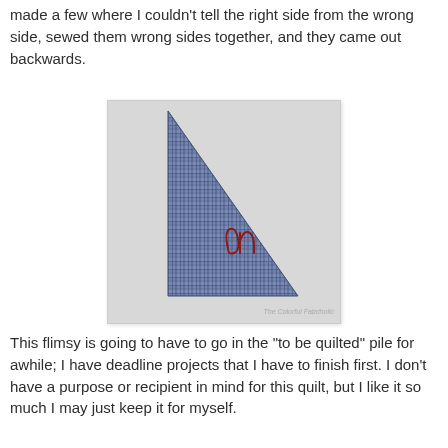made a few where I couldn't tell the right side from the wrong side, sewed them wrong sides together, and they came out backwards.
[Figure (photo): A triangular piece of blue plaid/grid-patterned fabric laid on a light gray background. The triangle is roughly right-angled with the right angle at the bottom-left. A dark red handwritten mark or signature appears on the lower-right portion of the fabric. A watermark reading 'The Colorful Fabriholic' appears in the bottom-right corner of the image.]
This flimsy is going to have to go in the "to be quilted" pile for awhile; I have deadline projects that I have to finish first. I don't have a purpose or recipient in mind for this quilt, but I like it so much I may just keep it for myself.